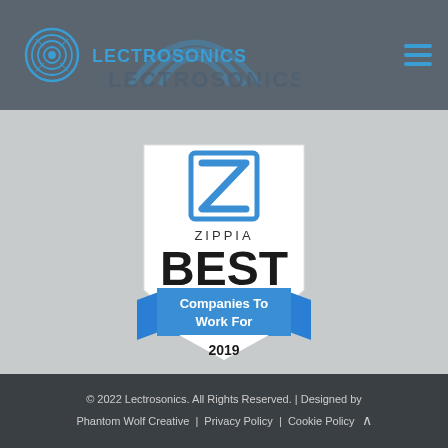LECTROSONICS
[Figure (logo): Zippia Best Companies To Work For 2019 badge/shield award logo with blue Z icon at top]
© 2022 Lectrosonics. All Rights Reserved. | Designed by Phantom Wolf Creative | Privacy Policy | Cookie Policy